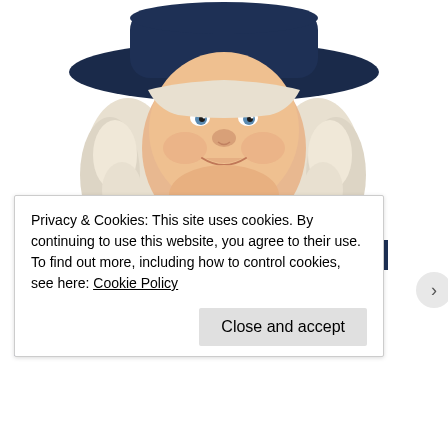[Figure (illustration): Illustration of the Quaker Oats man mascot — a smiling older gentleman with white curly hair, wearing a dark navy Quaker-style coat with white cravat and a wide-brimmed dark hat, shown from the torso up on a white background.]
Almost Nobody Has Passed This Classic Logo Quiz
Privacy & Cookies: This site uses cookies. By continuing to use this website, you agree to their use.
To find out more, including how to control cookies, see here: Cookie Policy
Close and accept